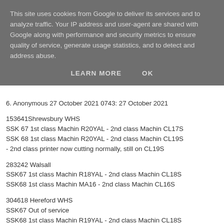This site uses cookies from Google to deliver its services and to analyze traffic. Your IP address and user-agent are shared with Google along with performance and security metrics to ensure quality of service, generate usage statistics, and to detect and address abuse.
LEARN MORE   OK
6. Anonymous 27 October 2021 0743: 27 October 2021
153641Shrewsbury WHS
SSK 67 1st class Machin R20YAL - 2nd class Machin CL17S
SSK 68 1st class Machin R20YAL - 2nd class Machin CL19S
- 2nd class printer now cutting normally, still on CL19S
283242 Walsall
SSK67 1st class Machin R18YAL - 2nd class Machin CL18S
SSK68 1st class Machin MA16 - 2nd class Machin CL16S
304618 Hereford WHS
SSK67 Out of service
SSK68 1st class Machin R19YAL - 2nd class Machin CL18S